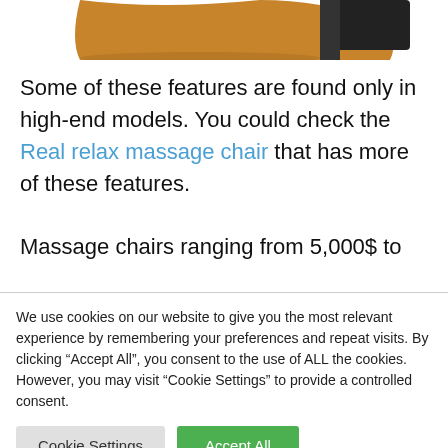[Figure (photo): Partial view of a massage chair (brown leather with dark frame) cropped at the top of the page]
Some of these features are found only in high-end models. You could check the Real relax massage chair that has more of these features.

Massage chairs ranging from 5,000$ to
We use cookies on our website to give you the most relevant experience by remembering your preferences and repeat visits. By clicking “Accept All”, you consent to the use of ALL the cookies. However, you may visit "Cookie Settings" to provide a controlled consent.
Cookie Settings | Accept All